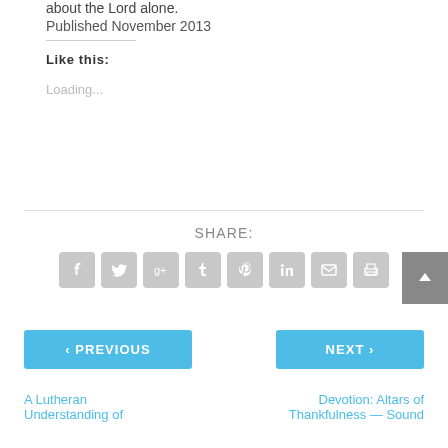about the Lord alone.
Published November 2013
Like this:
Loading...
SHARE:
[Figure (infographic): Row of 8 social media share icons (Facebook, Twitter, Google+, Tumblr, Pinterest, LinkedIn, Email, Print) as grey rounded square buttons with white icons, plus a grey back-to-top arrow button on the right]
< PREVIOUS
NEXT >
A Lutheran Understanding of
Devotion: Altars of Thankfulness — Sound